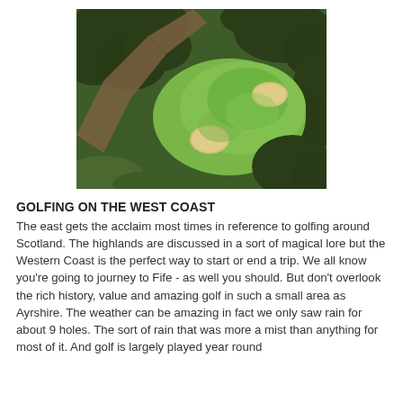[Figure (photo): Aerial view of a golf course showing a green fairway with two sand bunkers, surrounded by trees and rough terrain. A path cuts diagonally across the image.]
GOLFING ON THE WEST COAST
The east gets the acclaim most times in reference to golfing around Scotland. The highlands are discussed in a sort of magical lore but the Western Coast is the perfect way to start or end a trip. We all know you're going to journey to Fife - as well you should. But don't overlook the rich history, value and amazing golf in such a small area as Ayrshire. The weather can be amazing in fact we only saw rain for about 9 holes. The sort of rain that was more a mist than anything for most of it. And golf is largely played year round